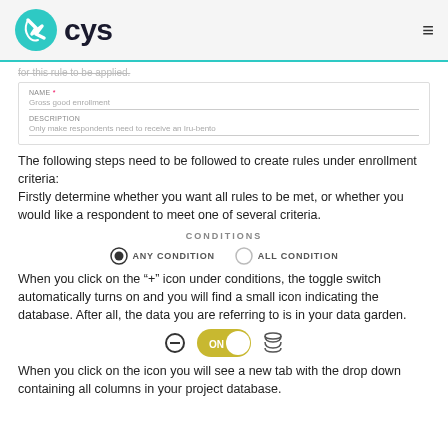cys
for this rule to be applied.
[Figure (screenshot): Form fields showing NAME and DESCRIPTION input fields with placeholder text]
The following steps need to be followed to create rules under enrollment criteria:
Firstly determine whether you want all rules to be met, or whether you would like a respondent to meet one of several criteria.
[Figure (infographic): CONDITIONS toggle section with ANY CONDITION (selected) and ALL CONDITION radio buttons]
When you click on the "+" icon under conditions, the toggle switch automatically turns on and you will find a small icon indicating the database. After all, the data you are referring to is in your data garden.
[Figure (screenshot): Toggle switch in ON position with minus icon on left and database icon on right]
When you click on the icon you will see a new tab with the drop down containing all columns in your project database.